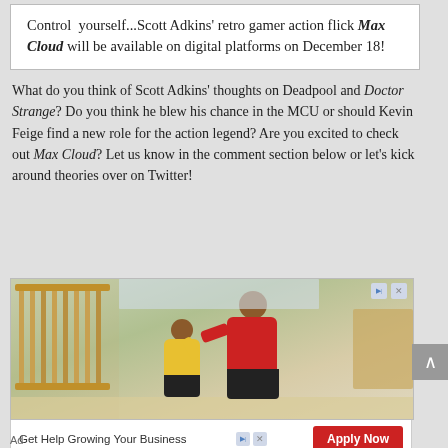Control yourself...Scott Adkins' retro gamer action flick Max Cloud will be available on digital platforms on December 18!
What do you think of Scott Adkins' thoughts on Deadpool and Doctor Strange? Do you think he blew his chance in the MCU or should Kevin Feige find a new role for the action legend? Are you excited to check out Max Cloud? Let us know in the comment section below or let's kick around theories over on Twitter!
[Figure (photo): Advertisement photo showing a daycare worker in a red shirt playing with a young child in a nursery room with a wooden crib in the background. Below the image is a banner reading 'Get Help Growing Your Business' with a red 'Apply Now' button.]